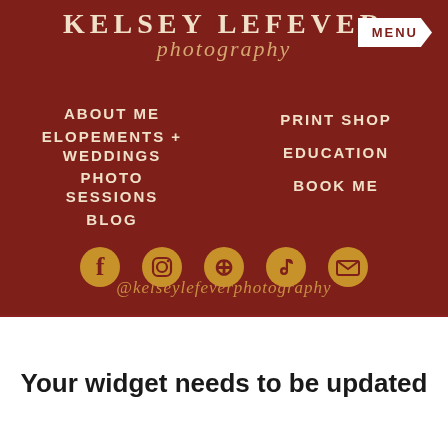[Figure (logo): Kelsey Lefever Photography logo with serif uppercase text and script typography on dark red background]
MENU
ABOUT ME
ELOPEMENTS + WEDDINGS
PHOTO SESSIONS
BLOG
PRINT SHOP
EDUCATION
BOOK ME
[Figure (infographic): Social media icons: Facebook, Instagram, Pinterest, TikTok, Email in gold circles on dark red background]
@kelseylefeverphotography
Your widget needs to be updated